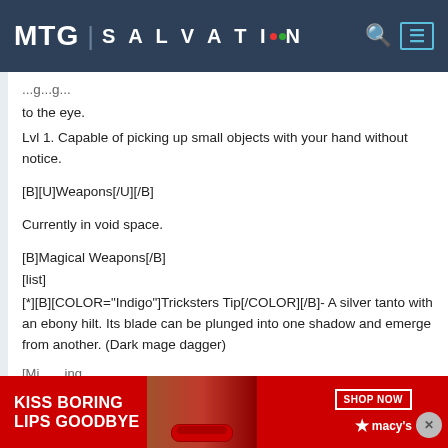MTG SALVATION
to the eye.
Lvl 1. Capable of picking up small objects with your hand without notice.
[B][U]Weapons[/U][/B]
Currently in void space.
[B]Magical Weapons[/B]
[list]
[*][B][COLOR="Indigo"]Tricksters Tip[/COLOR][/B]- A silver tanto with an ebony hilt. Its blade can be plunged into one shadow and emerge from another. (Dark mage dagger)
[Figure (photo): Macy's advertisement banner: 'KISS BORING LIPS GOODBYE' with a model's face and red lips, SHOP NOW button, Macy's star logo]